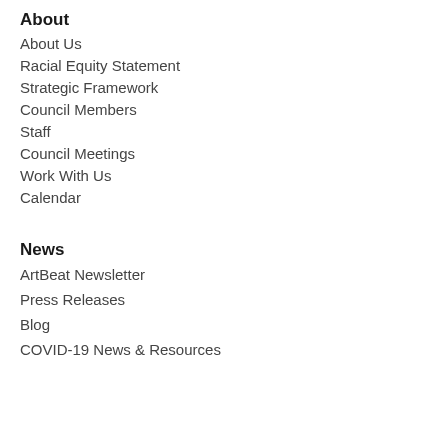About
About Us
Racial Equity Statement
Strategic Framework
Council Members
Staff
Council Meetings
Work With Us
Calendar
News
ArtBeat Newsletter
Press Releases
Blog
COVID-19 News & Resources